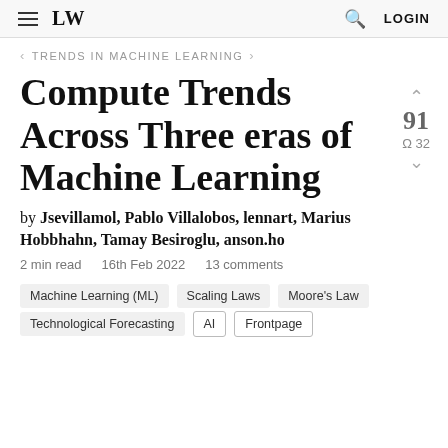LW | LOGIN
Trends in Machine Learning
Compute Trends Across Three eras of Machine Learning
by Jsevillamol, Pablo Villalobos, lennart, Marius Hobbhahn, Tamay Besiroglu, anson.ho
2 min read   16th Feb 2022   13 comments
91
Ω 32
Machine Learning (ML)
Scaling Laws
Moore's Law
Technological Forecasting
AI
Frontpage